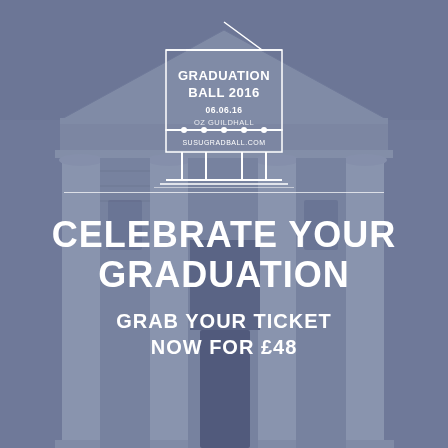[Figure (illustration): Greek revival building with columns, tinted blue-grey, serving as background image for a graduation ball advertisement]
[Figure (logo): Line drawing of a classical temple/portico logo containing text: GRADUATION BALL 2016, 06.06.16, OZ GUILDHALL, SUSUGRADBALL.COM]
CELEBRATE YOUR GRADUATION
GRAB YOUR TICKET NOW FOR £48